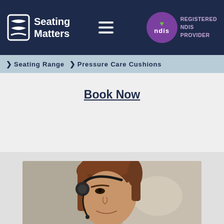Seating Matters | I love ndis REGISTERED NDIS PROVIDER
> Seating Range  > Pressure Care Cushions
Book Now
[Figure (photo): Woman wearing a headset, working at a call center or customer service desk, smiling slightly, hair pulled back in a ponytail.]